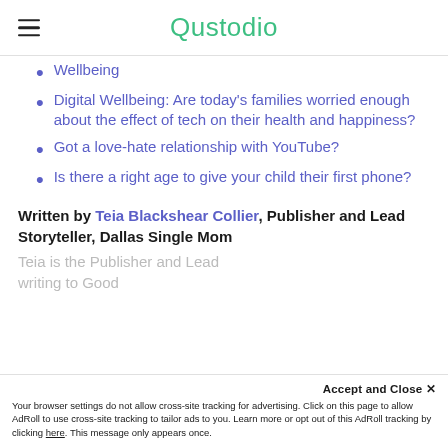Qustodio
Wellbeing
Digital Wellbeing: Are today's families worried enough about the effect of tech on their health and happiness?
Got a love-hate relationship with YouTube?
Is there a right age to give your child their first phone?
Written by Teia Blackshear Collier, Publisher and Lead Storyteller, Dallas Single Mom
Teia is the Publisher and Lead Storyteller, writing to Good
Accept and Close ✕
Your browser settings do not allow cross-site tracking for advertising. Click on this page to allow AdRoll to use cross-site tracking to tailor ads to you. Learn more or opt out of this AdRoll tracking by clicking here. This message only appears once.